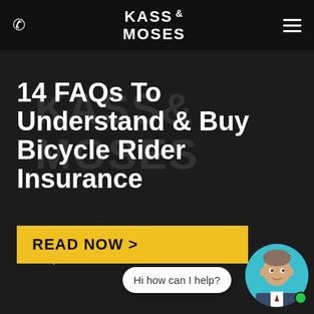KASS & MOSES
14 FAQs To Understand & Buy Bicycle Rider Insurance
POSTED BY ANDREW KASS
MAR 10, 2019
READ NOW >
Hi how can I help?